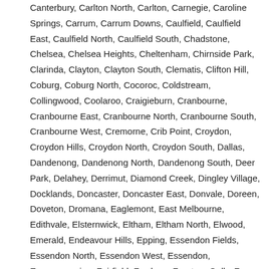Canterbury, Carlton North, Carlton, Carnegie, Caroline Springs, Carrum, Carrum Downs, Caulfield, Caulfield East, Caulfield North, Caulfield South, Chadstone, Chelsea, Chelsea Heights, Cheltenham, Chirnside Park, Clarinda, Clayton, Clayton South, Clematis, Clifton Hill, Coburg, Coburg North, Cocoroc, Coldstream, Collingwood, Coolaroo, Craigieburn, Cranbourne, Cranbourne East, Cranbourne North, Cranbourne South, Cranbourne West, Cremorne, Crib Point, Croydon, Croydon Hills, Croydon North, Croydon South, Dallas, Dandenong, Dandenong North, Dandenong South, Deer Park, Delahey, Derrimut, Diamond Creek, Dingley Village, Docklands, Doncaster, Doncaster East, Donvale, Doreen, Doveton, Dromana, Eaglemont, East Melbourne, Edithvale, Elsternwick, Eltham, Eltham North, Elwood, Emerald, Endeavour Hills, Epping, Essendon Fields, Essendon North, Essendon West, Essendon, Eumemmerring, Fairfield, Fawkner, Ferntree Gully, Ferny Creek, Fitzroy, Fitzroy North, Flemington, Footscray, Forest Hill, Frankston, Frankston North, Frankston South, Gardenvale, Gladstone Park, Glen Huntly, Glen Iris, Glen Waverley, Glenroy, Gowanbrae, Greensborough, Greenvale Lakes, Greenvale, Guys Hill, Hadfield, Hallam, Hampton, Hampton East, Hampton Park, Harkaway, Hawthorn, Hawthorn East, Heatherdale, Heatherton, Heathmont, Heidelberg, Heidelberg Heights, Heidelberg West, Highett, Hillside, Hoppers Crossing, Houston,